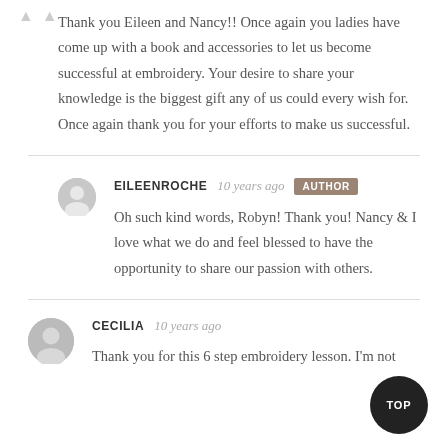Thank you Eileen and Nancy!! Once again you ladies have come up with a book and accessories to let us become successful at embroidery. Your desire to share your knowledge is the biggest gift any of us could every wish for. Once again thank you for your efforts to make us successful.
EILEENROCHE  10 years ago  AUTHOR
Oh such kind words, Robyn! Thank you! Nancy & I love what we do and feel blessed to have the opportunity to share our passion with others.
CECILIA  10 years ago
Thank you for this 6 step embroidery lesson. I'm not